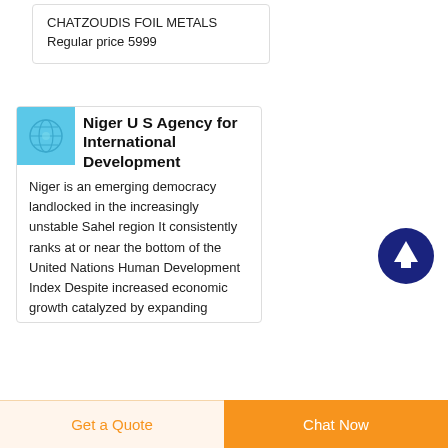CHATZOUDIS FOIL METALS
Regular price 5999
Niger U S Agency for International Development
Niger is an emerging democracy landlocked in the increasingly unstable Sahel region It consistently ranks at or near the bottom of the United Nations Human Development Index Despite increased economic growth catalyzed by expanding
[Figure (illustration): Scroll-to-top button: dark navy blue circle with white upward arrow]
Get a Quote
Chat Now